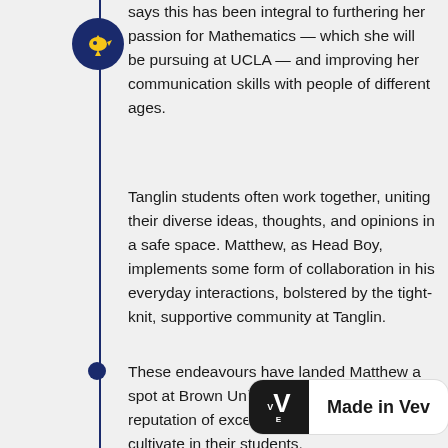says this has been integral to furthering her passion for Mathematics — which she will be pursuing at UCLA — and improving her communication skills with people of different ages.
Tanglin students often work together, uniting their diverse ideas, thoughts, and opinions in a safe space. Matthew, as Head Boy, implements some form of collaboration in his everyday interactions, bolstered by the tight-knit, supportive community at Tanglin.
These endeavours have landed Matthew a spot at Brown University — proof of the high reputation of excellence Tanglin helps to cultivate in their students.
[Figure (logo): Made in Vev badge with black V logo box and text 'Made in Vev']